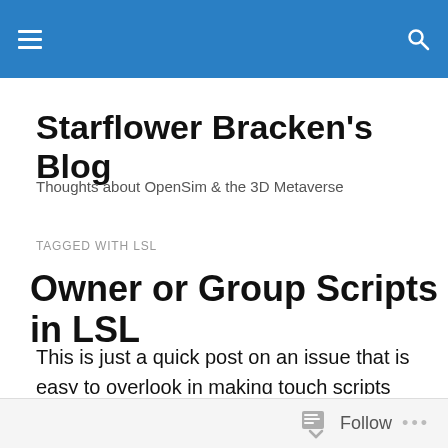Starflower Bracken's Blog — navigation header bar
Starflower Bracken's Blog
Thoughts about OpenSim & the 3D Metaverse
TAGGED WITH LSL
Owner or Group Scripts in LSL
This is just a quick post on an issue that is easy to overlook in making touch scripts work only for the owner or a group. If for example, you set an object to no group, that should include everybody – but it doesn't! If, for
Follow ...